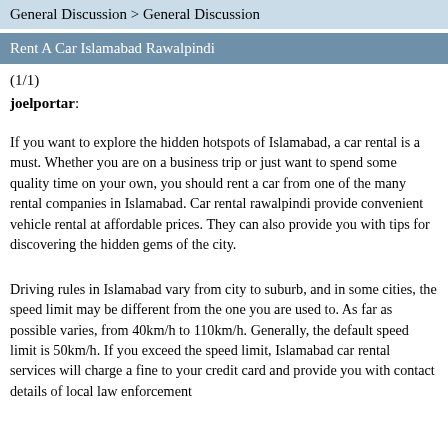General Discussion > General Discussion
Rent A Car Islamabad Rawalpindi
(1/1)
joelportar:
If you want to explore the hidden hotspots of Islamabad, a car rental is a must. Whether you are on a business trip or just want to spend some quality time on your own, you should rent a car from one of the many rental companies in Islamabad. Car rental rawalpindi provide convenient vehicle rental at affordable prices. They can also provide you with tips for discovering the hidden gems of the city.
Driving rules in Islamabad vary from city to suburb, and in some cities, the speed limit may be different from the one you are used to. As far as possible varies, from 40km/h to 110km/h. Generally, the default speed limit is 50km/h. If you exceed the speed limit, Islamabad car rental services will charge a fine to your credit card and provide you with contact details of local law enforcement...